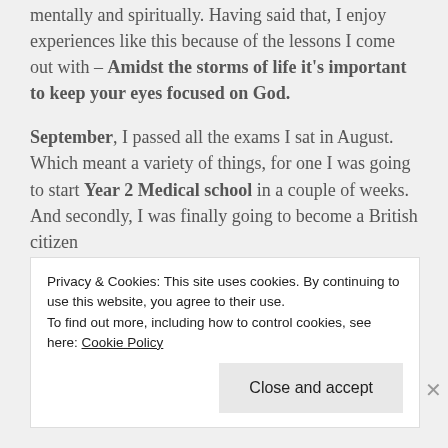mentally and spiritually. Having said that, I enjoy experiences like this because of the lessons I come out with – Amidst the storms of life it's important to keep your eyes focused on God.
September, I passed all the exams I sat in August. Which meant a variety of things, for one I was going to start Year 2 Medical school in a couple of weeks. And secondly, I was finally going to become a British citizen 🙌🏽🇬🇧
In October, back into the groove of Uni;
Privacy & Cookies: This site uses cookies. By continuing to use this website, you agree to their use.
To find out more, including how to control cookies, see here: Cookie Policy